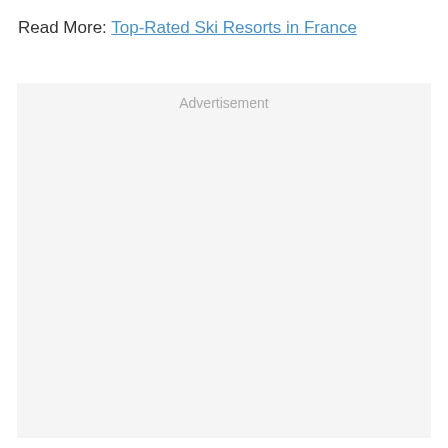Read More: Top-Rated Ski Resorts in France
[Figure (other): Advertisement placeholder box with light grey background and 'Advertisement' label text centered at top]